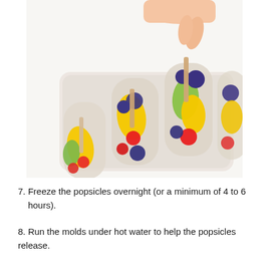[Figure (photo): A hand inserting a wooden popsicle stick into a plastic popsicle mold tray containing colorful fruit pieces: yellow mango, red raspberries/strawberries, blueberries, and green kiwi. Three mold compartments are visible, each filled with assorted fruit pieces.]
7. Freeze the popsicles overnight (or a minimum of 4 to 6 hours).
8. Run the molds under hot water to help the popsicles release.